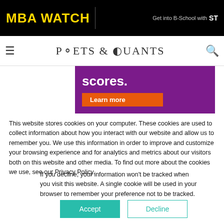MBA WATCH
[Figure (logo): Poets & Quants logo with hamburger menu and search icon]
[Figure (screenshot): Purple ad banner showing 'scores.' text and 'Learn more' orange button]
This website stores cookies on your computer. These cookies are used to collect information about how you interact with our website and allow us to remember you. We use this information in order to improve and customize your browsing experience and for analytics and metrics about our visitors both on this website and other media. To find out more about the cookies we use, see our Privacy Policy.
If you decline, your information won't be tracked when you visit this website. A single cookie will be used in your browser to remember your preference not to be tracked.